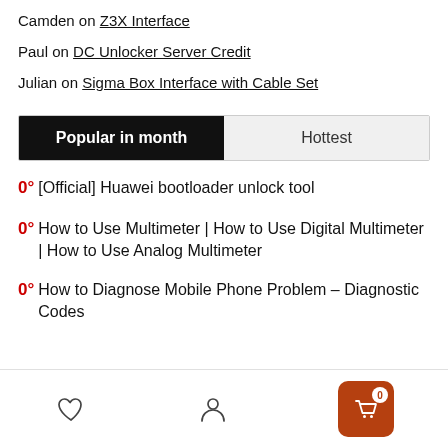Camden on Z3X Interface
Paul on DC Unlocker Server Credit
Julian on Sigma Box Interface with Cable Set
Popular in month | Hottest
0° [Official] Huawei bootloader unlock tool
0° How to Use Multimeter | How to Use Digital Multimeter | How to Use Analog Multimeter
0° How to Diagnose Mobile Phone Problem – Diagnostic Codes
Footer navigation: wishlist, account, cart (0)